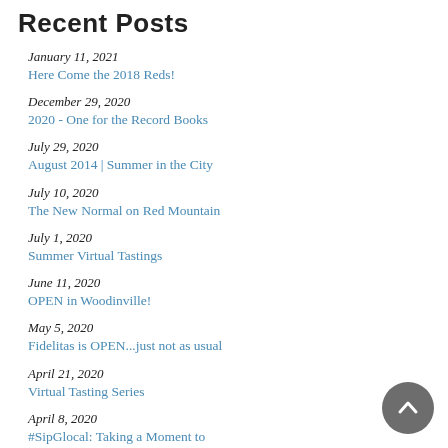Recent Posts
January 11, 2021
Here Come the 2018 Reds!
December 29, 2020
2020 - One for the Record Books
July 29, 2020
August 2014 | Summer in the City
July 10, 2020
The New Normal on Red Mountain
July 1, 2020
Summer Virtual Tastings
June 11, 2020
OPEN in Woodinville!
May 5, 2020
Fidelitas is OPEN...just not as usual
April 21, 2020
Virtual Tasting Series
April 8, 2020
#SipGlocal: Taking a Moment to Reflect
March 3, 2020
Gaining a Better Understanding for